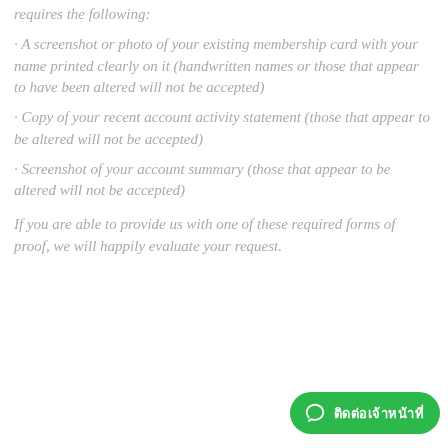requires the following:
· A screenshot or photo of your existing membership card with your name printed clearly on it (handwritten names or those that appear to have been altered will not be accepted)
· Copy of your recent account activity statement (those that appear to be altered will not be accepted)
· Screenshot of your account summary (those that appear to be altered will not be accepted)
If you are able to provide us with one of these required forms of proof, we will happily evaluate your request.